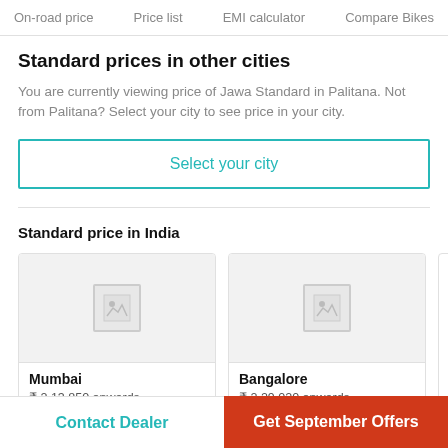On-road price   Price list   EMI calculator   Compare Bikes
Standard prices in other cities
You are currently viewing price of Jawa Standard in Palitana. Not from Palitana? Select your city to see price in your city.
Select your city
Standard price in India
[Figure (other): City card for Mumbai showing placeholder bike image]
Mumbai
₹ 2,13,850 onwards
[Figure (other): City card for Bangalore showing placeholder bike image]
Bangalore
₹ 2,29,020 onwards
Contact Dealer   Get September Offers